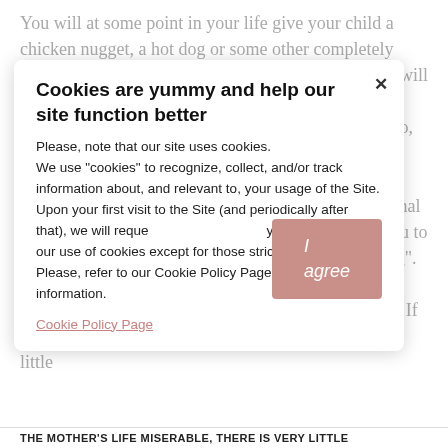You will at some point in your life give your child a chicken nugget, a hot dog or some other completely sketchy health-but-supreme-fun food and your child will survive. Somewhere. Yes, you will not be perfect and your child will be OK! Were your parents perfect? No, and you are still on this earth and doing just fine. And if your worry is stemming less from the nutritional side and more from the bonding side, I encourage you to read "Why Breastfeeding May Not Feel like Bonding". In this article, I talk about the fact that sometimes breastfeeding can actually get in the way of bonding. If it's making the mother's life miserable, there is very little
Cookies are yummy and help our site function better
Please, note that our site uses cookies.
We use "cookies" to recognize, collect, and/or track information about, and relevant to, your usage of the Site.
Upon your first visit to the Site (and periodically after that), we will request your consent to our use of cookies except for those strictly necessary.
Please, refer to our Cookie Policy Page for more information.
Cookie Policy Page
THE MOTHER'S LIFE MISERABLE, THERE IS VERY LITTLE